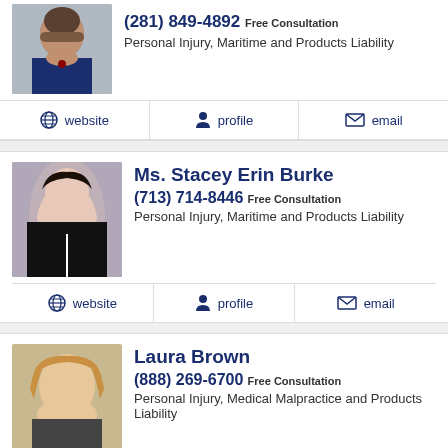[Figure (photo): Headshot of a man in a suit with a beard]
(281) 849-4892 Free Consultation
Personal Injury, Maritime and Products Liability
website   profile   email
Ms. Stacey Erin Burke
(713) 714-8446 Free Consultation
Personal Injury, Maritime and Products Liability
website   profile   email
Laura Brown
(888) 269-6700 Free Consultation
Personal Injury, Medical Malpractice and Products Liability
website   profile   email